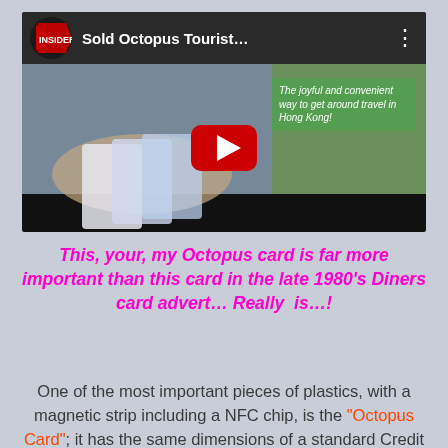[Figure (screenshot): YouTube video thumbnail showing 'Sold Octopus Tourist...' with Insider logo, play button, and green text overlay about traveling in Hong Kong]
This, your, my Octopus card is far more important than this card in the late 1980's Diners card advert… Really  is…!
One of the most important pieces of plastics, with a magnetic strip including a NFC chip, is the "Octopus Card"; it has the same dimensions of a standard Credit card, with exclusive features…  As from the first post written that arriving onto back to Already Tomorrow in Hong Kong, as coming